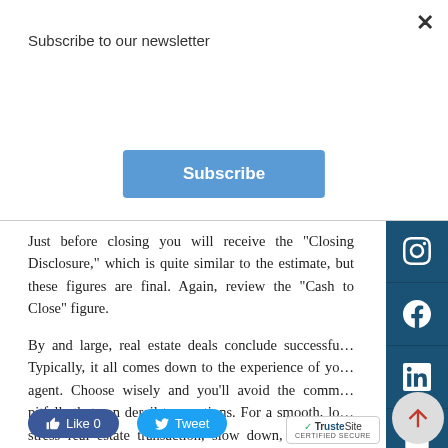Subscribe to our newsletter
Subscribe
Just before closing you will receive the "Closing Disclosure," which is quite similar to the estimate, but these figures are final. Again, review the "Cash to Close" figure.
By and large, real estate deals conclude successfully. Typically, it all comes down to the experience of your agent. Choose wisely and you'll avoid the common pitfalls that can derail transactions. For a smooth, low-stress real estate transaction, slow down, keep your expectations realistic and heed the advice of your real estate agent or attorney.